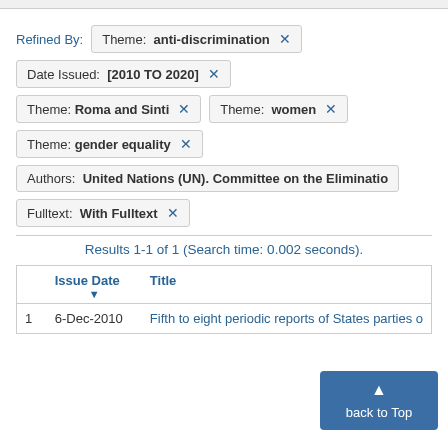Refined By:  Theme: anti-discrimination ×
Date Issued:  [2010 TO 2020] ×
Theme:  Roma and Sinti ×    Theme:  women ×
Theme:  gender equality ×
Authors:  United Nations (UN). Committee on the Eliminatio
Fulltext:  With Fulltext ×
Results 1-1 of 1 (Search time: 0.002 seconds).
|  | Issue Date ▼ | Title |
| --- | --- | --- |
| 1 | 6-Dec-2010 | Fifth to eight periodic reports of States parties o… |